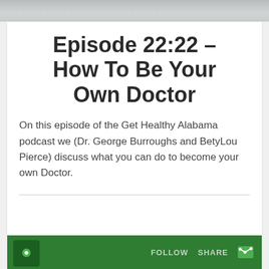[Figure (photo): Partial photo strip at top showing a person in white clothing, cropped]
Episode 22:22 – How To Be Your Own Doctor
On this episode of the Get Healthy Alabama podcast we (Dr. George Burroughs and BetyLou Pierce) discuss what you can do to become your own Doctor.
[Figure (infographic): Green podcast player bar at bottom with FOLLOW and SHARE labels and podcast logo icon]